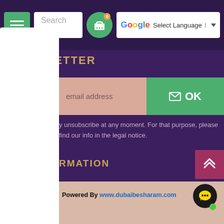[Figure (screenshot): Top navigation bar with hamburger menu (green), search box ('Search our'), shopping cart icon with badge '0', and Google Translate language selector ('Select Language')]
NEWSLETTER
[Figure (screenshot): Email subscription input field with placeholder 'email address' and a green OK button with envelope icon]
y unsubscribe at any moment. For that purpose, please find our info in the legal notice.
RMATION
WHY CHOOSE US
CITIES WE DELIVER TO
Copyright © 2022  Powered By www.dubaibesharam.com